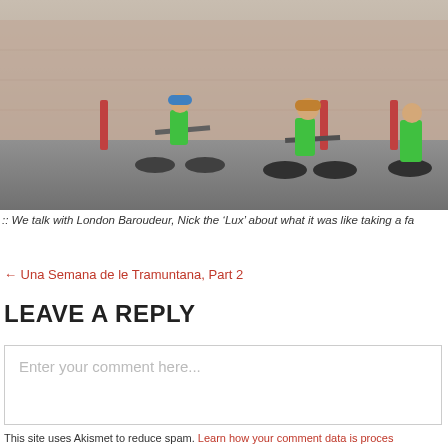[Figure (photo): Cyclists wearing green high-visibility vests riding bicycles on a city street, with brick buildings in the background. Children and adults cycling together.]
:: We talk with London Baroudeur, Nick the ‘Lux’ about what it was like taking a fa
← Una Semana de le Tramuntana, Part 2
LEAVE A REPLY
Enter your comment here...
This site uses Akismet to reduce spam. Learn how your comment data is proces